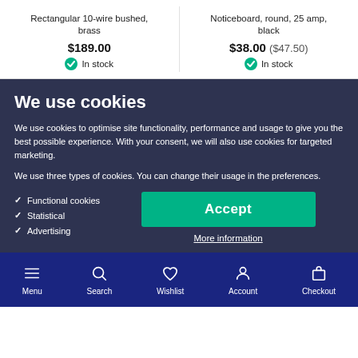Rectangular 10-wire bushed, brass — $189.00 — In stock
Noticeboard, round, 25 amp, black — $38.00 ($47.50) — In stock
We use cookies
We use cookies to optimise site functionality, performance and usage to give you the best possible experience. With your consent, we will also use cookies for targeted marketing.
We use three types of cookies. You can change their usage in the preferences.
Functional cookies
Statistical
Advertising
Accept
More information
Menu | Search | Wishlist | Account | Checkout